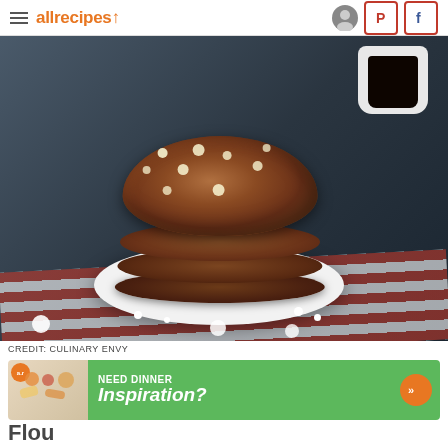allrecipes
[Figure (photo): Stack of chocolate marshmallow cookies on a white plate with a coffee cup in the background and a red and white striped cloth napkin]
CREDIT: CULINARY ENVY
[Figure (infographic): Advertisement banner: Need Dinner Inspiration? with pasta image and orange arrow button]
Flou